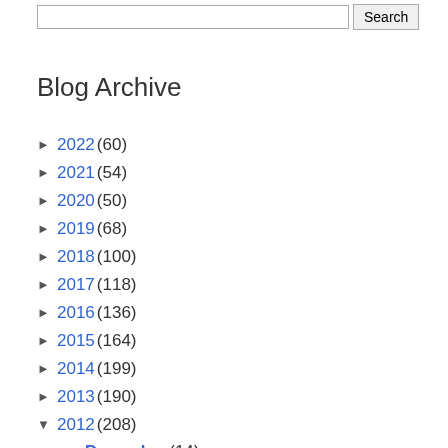Blog Archive
► 2022 (60)
► 2021 (54)
► 2020 (50)
► 2019 (68)
► 2018 (100)
► 2017 (118)
► 2016 (136)
► 2015 (164)
► 2014 (199)
► 2013 (190)
▼ 2012 (208)
► December (14)